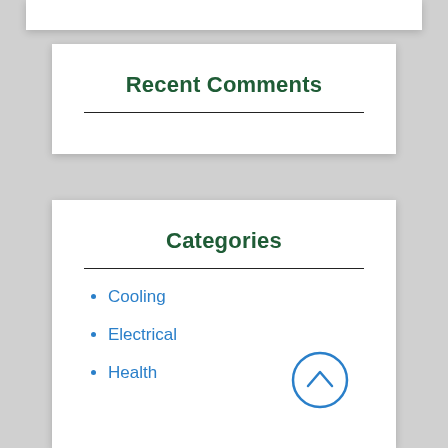Recent Comments
Categories
Cooling
Electrical
Health